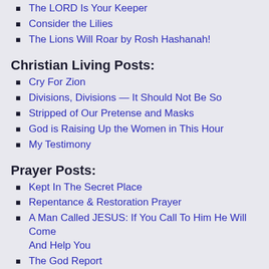The LORD Is Your Keeper
Consider the Lilies
The Lions Will Roar by Rosh Hashanah!
Christian Living Posts:
Cry For Zion
Divisions, Divisions — It Should Not Be So
Stripped of Our Pretense and Masks
God is Raising Up the Women in This Hour
My Testimony
Prayer Posts:
Kept In The Secret Place
Repentance & Restoration Prayer
A Man Called JESUS: If You Call To Him He Will Come And Help You
The God Report
The LORD is Taking You to the Next Level!
Bible Sharing Posts:
A Man Called JESUS: If You Call To Him He Will Come